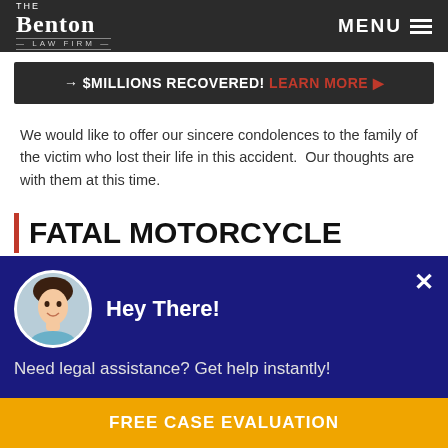The Benton Law Firm | MENU
→ $MILLIONS RECOVERED! LEARN MORE ▶
We would like to offer our sincere condolences to the family of the victim who lost their life in this accident.  Our thoughts are with them at this time.
FATAL MOTORCYCLE
Hey There!
Need legal assistance? Get help instantly!
FREE CASE EVALUATION